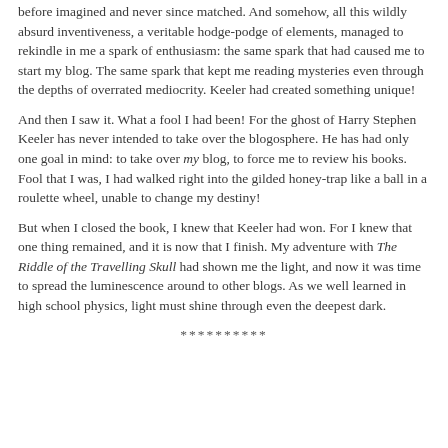before imagined and never since matched. And somehow, all this wildly absurd inventiveness, a veritable hodge-podge of elements, managed to rekindle in me a spark of enthusiasm: the same spark that had caused me to start my blog. The same spark that kept me reading mysteries even through the depths of overrated mediocrity. Keeler had created something unique!
And then I saw it. What a fool I had been! For the ghost of Harry Stephen Keeler has never intended to take over the blogosphere. He has had only one goal in mind: to take over my blog, to force me to review his books. Fool that I was, I had walked right into the gilded honey-trap like a ball in a roulette wheel, unable to change my destiny!
But when I closed the book, I knew that Keeler had won. For I knew that one thing remained, and it is now that I finish. My adventure with The Riddle of the Travelling Skull had shown me the light, and now it was time to spread the luminescence around to other blogs. As we well learned in high school physics, light must shine through even the deepest dark.
**********